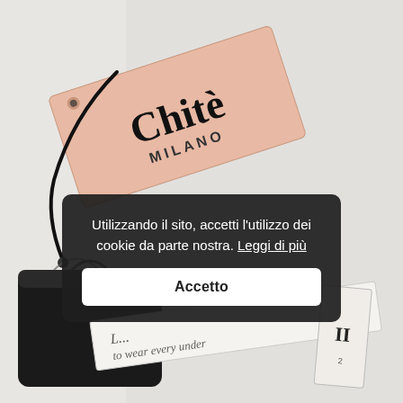[Figure (photo): Photo of Chitè Milano branded tag (salmon/pink colored rectangular card with 'Chitè' in bold black and 'MILANO' below in smaller caps), a black drawstring pouch, a white fabric label ribbon with printed text, and a size label, arranged on a white textured background.]
Utilizzando il sito, accetti l'utilizzo dei cookie da parte nostra. Leggi di più
Accetto